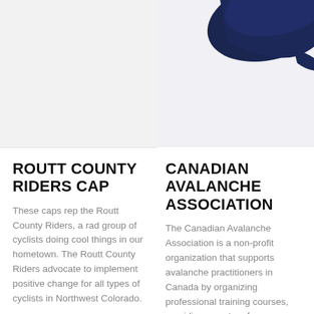[Figure (photo): Light gray background placeholder area for Routt County Riders Cap product image (left column, top)]
[Figure (photo): Photo of a navy blue baseball cap, partially visible, against a light background (right column, top)]
ROUTT COUNTY RIDERS CAP
These caps rep the Routt County Riders, a rad group of cyclists doing cool things in our hometown. The Routt County Riders advocate to implement positive change for all types of cyclists in Northwest Colorado.
$ 25.00
CANADIAN AVALANCHE ASSOCIATION
The Canadian Avalanche Association is a non-profit organization that supports avalanche practitioners in Canada by organizing professional training courses, providing a system for information exchange and ensures that members meet the highest practice standards to secure confidence in their avalanche safety programs.